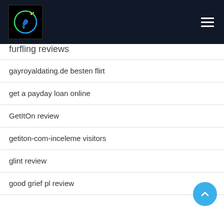Logo and navigation header
furfling reviews
gayroyaldating.de besten flirt
get a payday loan online
GetItOn review
getiton-com-inceleme visitors
glint review
good grief pl review